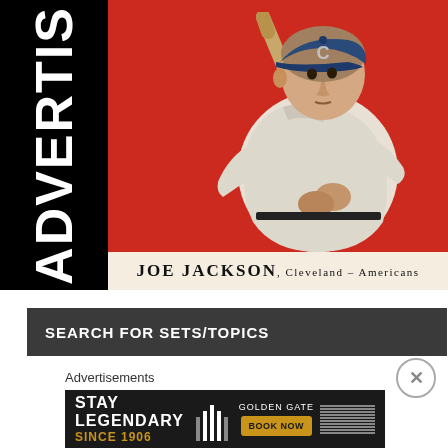[Figure (illustration): Vintage baseball card showing Joe Jackson in Cleveland Americans uniform holding a bat, on red background, with black advertisement panel on the left showing 'ADVERTIS' text vertically]
SEARCH FOR SETS/TOPICS
Advertisements
[Figure (infographic): Advertisement banner: STAY LEGENDARY SINCE 1906 - Golden Gate - BOOK NOW]